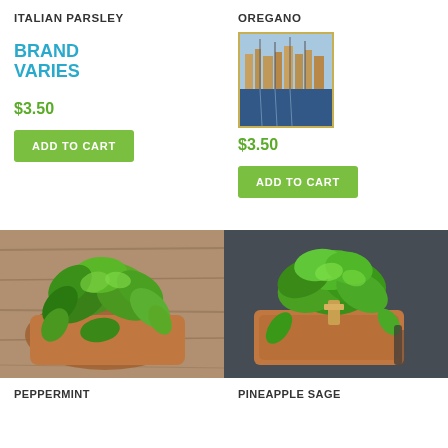ITALIAN PARSLEY
OREGANO
BRAND VARIES
[Figure (photo): Painting/artwork image showing Venice canal scene with gondolas]
$3.50
$3.50
ADD TO CART
ADD TO CART
[Figure (photo): Fresh peppermint leaves on a wooden cutting board on a wooden table]
[Figure (photo): Fresh mint leaves bundled on a wooden cutting board on dark surface]
PEPPERMINT
PINEAPPLE SAGE